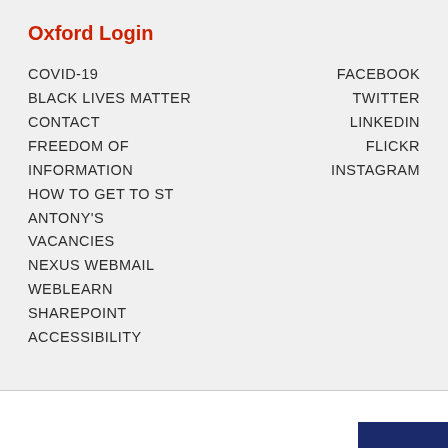Oxford Login
COVID-19
BLACK LIVES MATTER
CONTACT
FREEDOM OF INFORMATION
HOW TO GET TO ST ANTONY'S
VACANCIES
NEXUS WEBMAIL
WEBLEARN
SHAREPOINT
ACCESSIBILITY
FACEBOOK
TWITTER
LINKEDIN
FLICKR
INSTAGRAM